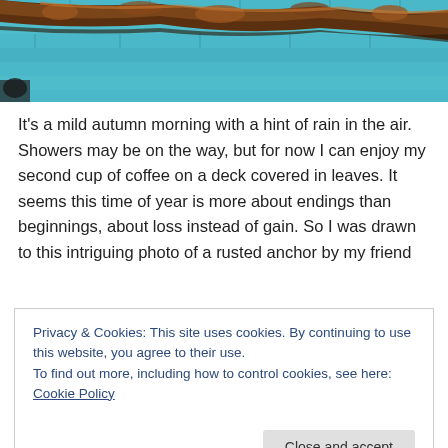[Figure (photo): Close-up photo of a rusted metal anchor against a teal/blue painted brick wall background. The anchor shows heavy rust and corrosion on its surface.]
It's a mild autumn morning with a hint of rain in the air. Showers may be on the way, but for now I can enjoy my second cup of coffee on a deck covered in leaves. It seems this time of year is more about endings than beginnings, about loss instead of gain. So I was drawn to this intriguing photo of a rusted anchor by my friend
Privacy & Cookies: This site uses cookies. By continuing to use this website, you agree to their use.
To find out more, including how to control cookies, see here: Cookie Policy
Close and accept
the close of beloved family and friends, someone who deeply and